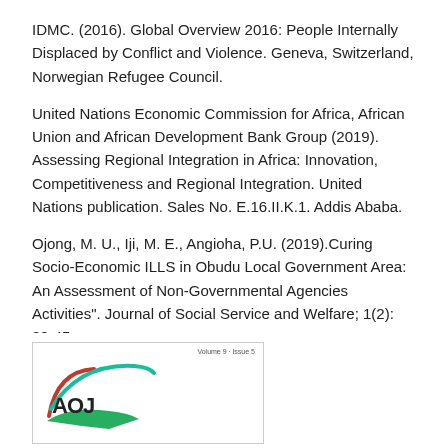IDMC. (2016). Global Overview 2016: People Internally Displaced by Conflict and Violence. Geneva, Switzerland, Norwegian Refugee Council.
United Nations Economic Commission for Africa, African Union and African Development Bank Group (2019). Assessing Regional Integration in Africa: Innovation, Competitiveness and Regional Integration. United Nations publication. Sales No. E.16.II.K.1. Addis Ababa.
Ojong, M. U., Iji, M. E., Angioha, P.U. (2019).Curing Socio-Economic ILLS in Obudu Local Government Area: An Assessment of Non-Governmental Agencies Activities". Journal of Social Service and Welfare; 1(2): 38-45.
[Figure (logo): AOJ journal logo with red and teal swoosh design. Text reads 'Volume 9, Issue 5' in top right corner.]